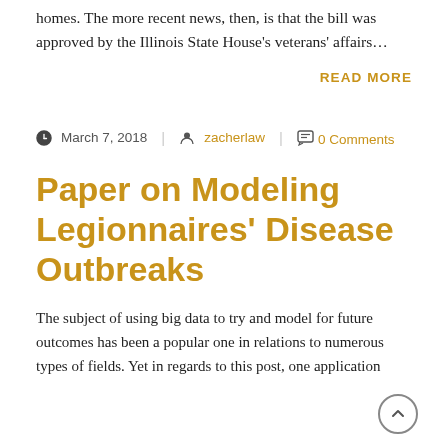homes. The more recent news, then, is that the bill was approved by the Illinois State House's veterans' affairs…
READ MORE
March 7, 2018 | zacherlaw | 0 Comments
Paper on Modeling Legionnaires' Disease Outbreaks
The subject of using big data to try and model for future outcomes has been a popular one in relations to numerous types of fields. Yet in regards to this post, one application